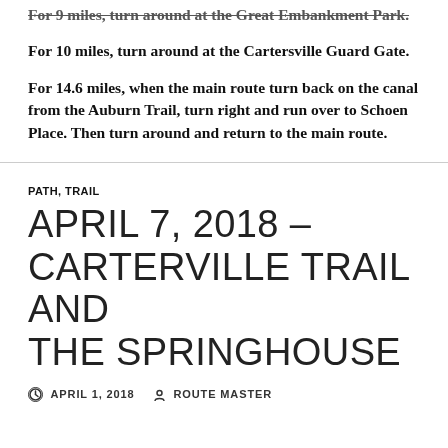For 9 miles, turn around at the Great Embankment Park.
For 10 miles, turn around at the Cartersville Guard Gate.
For 14.6 miles, when the main route turn back on the canal from the Auburn Trail, turn right and run over to Schoen Place. Then turn around and return to the main route.
PATH, TRAIL
APRIL 7, 2018 – CARTERVILLE TRAIL AND THE SPRINGHOUSE
APRIL 1, 2018   ROUTE MASTER